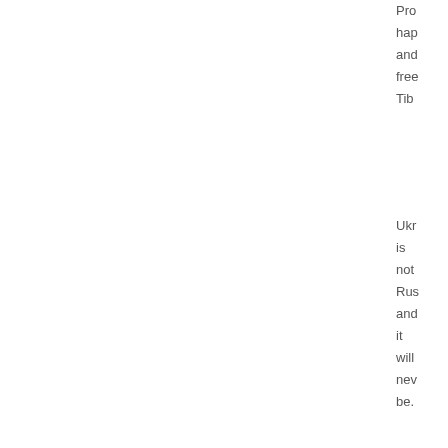Pro hap and free Tibe
Ukr is not Rus and it will nev be.
Rus and Chi cutt Ukr and Tai like a cak
[Figure (illustration): Screenshot of a social media feed showing a scrollable card with clipped text snippets about Tibet, Ukraine, Russia and China, plus a scroll icon button. Below is another card showing a flag (blue background with red star) and a QUOTE badge.]